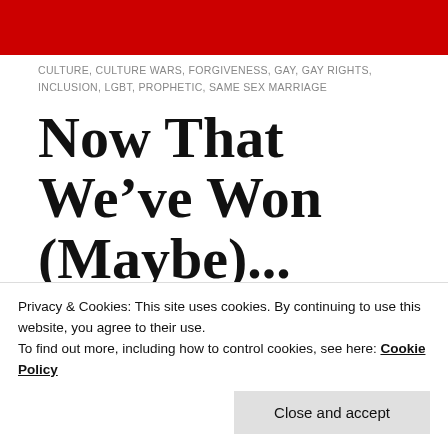[Figure (other): Red decorative bar at top of page]
CULTURE, CULTURE WARS, FORGIVENESS, GAY, GAY RIGHTS, INCLUSION, LGBT, PROPHETIC, SAME SEX MARRIAGE
Now That We've Won (Maybe)...
[Figure (photo): Red image with pink/light section, partially visible article image]
This week's drama over the
Privacy & Cookies: This site uses cookies. By continuing to use this website, you agree to their use.
To find out more, including how to control cookies, see here: Cookie Policy
Close and accept
Court